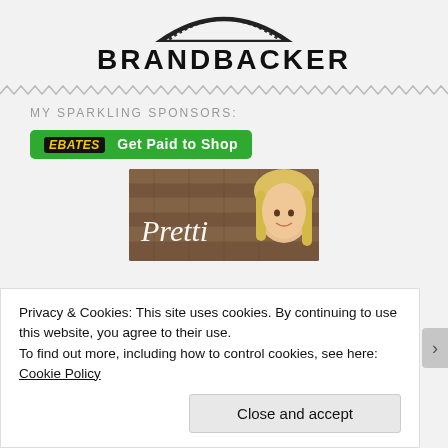[Figure (logo): BrandBacker logo with arc/dotted ring and bold text BRANDBACKER]
MY SPARKLING SPONSORS:
[Figure (illustration): Ebates green button reading 'EBATES Get Paid to Shop']
[Figure (photo): Pretti blog/sponsor image showing a blonde woman against a wood background with script text 'Pretti']
Privacy & Cookies: This site uses cookies. By continuing to use this website, you agree to their use.
To find out more, including how to control cookies, see here: Cookie Policy
Close and accept